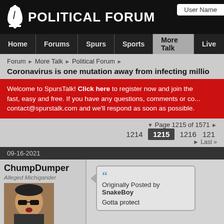POLITICAL FORUM
User Name
Home | Forums | Spurs | Sports | More Talk | Live
Forum > More Talk > Political Forum >
Coronavirus is one mutation away from infecting millio...
Welcome to SpursTalk! Click here to register now and join the ... fast, easy and free. If you have any questions, comments or co... contact@spurstalk.com and we'll respond as soon as possible.
Page 1215 of 1571
1214  1215  1216  121...  Last
09-16-2021
ChumpDumper
Alleged Michigander
[Figure (photo): Avatar photo of ChumpDumper - person wearing sunglasses]
My Team: San Antonio Spurs
Join Date: May 2003
Post Count: 137,786
Originally Posted by SnakeBoy
Gotta protect...